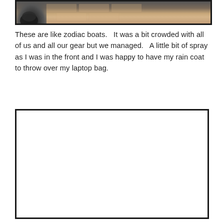[Figure (photo): Partial view of a photo showing what appears to be an animal paw/hoof on a tiled or brick floor surface, with dark border framing.]
These are like zodiac boats.   It was a bit crowded with all of us and all our gear but we managed.   A little bit of spray as I was in the front and I was happy to have my rain coat to throw over my laptop bag.
[Figure (photo): A blank/white framed photo placeholder with dark border.]